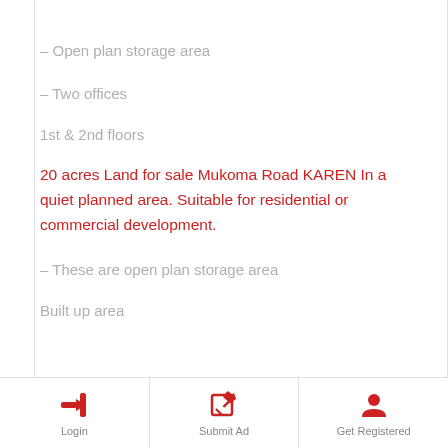– Open plan storage area
– Two offices
1st & 2nd floors
20 acres Land for sale Mukoma Road KAREN In a quiet planned area. Suitable for residential or commercial development.
– These are open plan storage area
Built up area
Login  Submit Ad  Get Registered